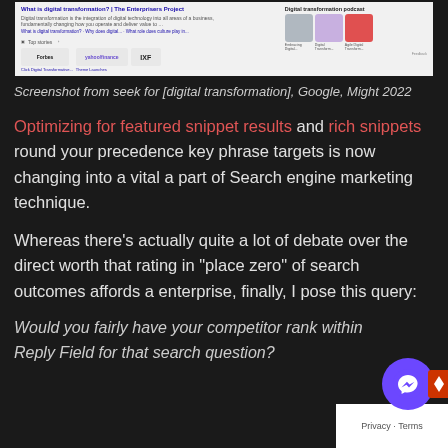[Figure (screenshot): Screenshot of Google search results for 'digital transformation' showing The Enterprisers Project result, top stories section with Forbes and Yahoo Finance, and a Digital transformation podcast panel on the right with thumbnails.]
Screenshot from seek for [digital transformation], Google, Might 2022
Optimizing for featured snippet results and rich snippets round your precedence key phrase targets is now changing into a vital a part of Search engine marketing technique.
Whereas there’s actually quite a lot of debate over the direct worth that rating in “place zero” of search outcomes affords a enterprise, finally, I pose this query:
Would you fairly have your competitor rank within Reply Field for that search question?